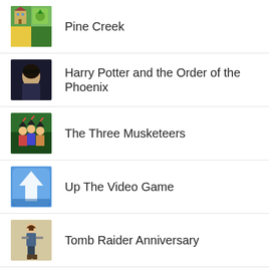Pine Creek
Harry Potter and the Order of the Phoenix
The Three Musketeers
Up The Video Game
Tomb Raider Anniversary
Turtix
The Adventures of Tintin: The Secret of the U...
MachJab2 – Kerbal Space Program Mod